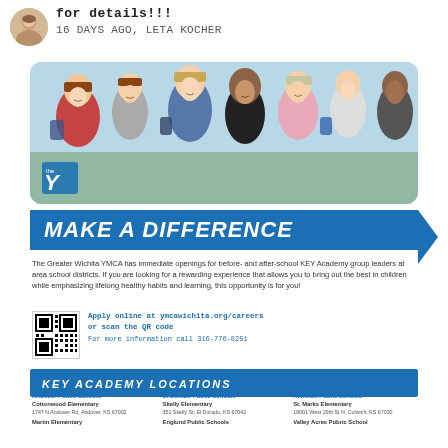[Figure (photo): Circular avatar/profile photo of a woman]
for details!!!
16 DAYS AGO, LETA KOCHER
[Figure (photo): Group of smiling school-age children with backpacks, YMCA logo visible in lower left corner]
MAKE A DIFFERENCE
The Greater Wichita YMCA has immediate openings for before- and after-school KEY Academy group leaders at area school districts. If you are looking for a rewarding experience that allows you to bring out the best in children while emphasizing lifelong healthy habits and learning, this opportunity is for you!
[Figure (other): QR code for ymcawichita.org/careers]
Apply online at ymcawichita.org/careers or scan the QR code For more information call 316-776-8251
KEY ACADEMY LOCATIONS
Andover Public Schools
Cottonwood Elementary
1747 N Andover Rd, Andover, KS 67002
Martin Elementary
El Dorado Public Schools
Skelly Elementary
351 Skelly St, El Dorado, KS 67042
Englund Public Schools
Renwick Public Schools
St. Marks Elementary
19001 West 29th St N, Colwich, KS 67030
Valley Acres Pubric School